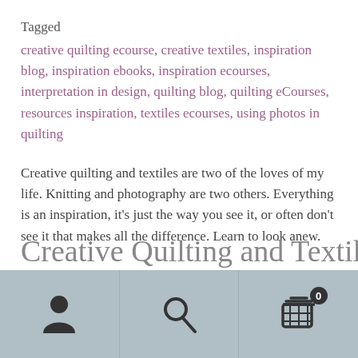Tagged
creative quilting ecourse, creative textiles, inspiration blog, inspiration ebooks, inspiration ecourses, interpretation in design, quilting blog, quilting eCourses, resources inspiration, textiles ecourses, using photos in quilting
Creative quilting and textiles are two of the loves of my life. Knitting and photography are two others. Everything is an inspiration, it’s just the way you see it, or often don’t see it that makes all the difference. Learn to look anew.
Creative Quilting and Textile–
Navigation bar with person icon, search icon, and cart icon (0 items)